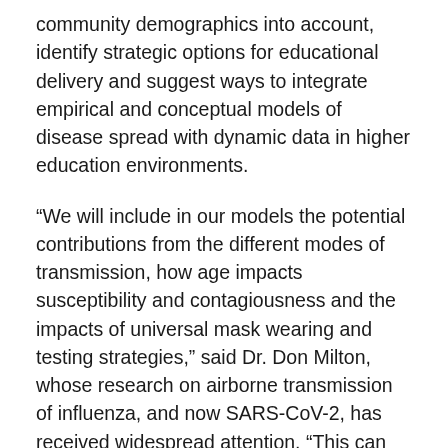community demographics into account, identify strategic options for educational delivery and suggest ways to integrate empirical and conceptual models of disease spread with dynamic data in higher education environments.
“We will include in our models the potential contributions from the different modes of transmission, how age impacts susceptibility and contagiousness and the impacts of universal mask wearing and testing strategies,” said Dr. Don Milton, whose research on airborne transmission of influenza, and now SARS-CoV-2, has received widespread attention. “This can inform decision making for control of future epidemics and pandemics not only on college campuses but also for educational environments more generally,”